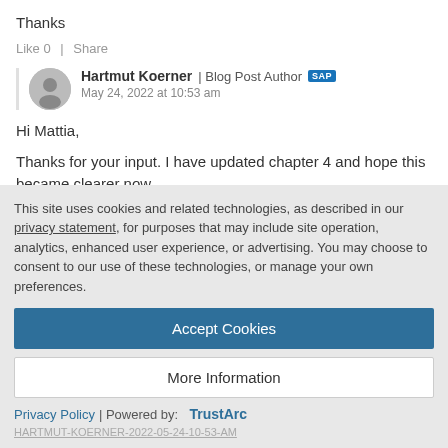Thanks
Like 0  |  Share
Hartmut Koerner | Blog Post Author [SAP] May 24, 2022 at 10:53 am
Hi Mattia,
Thanks for your input. I have updated chapter 4 and hope this became clearer now.
This site uses cookies and related technologies, as described in our privacy statement, for purposes that may include site operation, analytics, enhanced user experience, or advertising. You may choose to consent to our use of these technologies, or manage your own preferences.
Accept Cookies
More Information
Privacy Policy | Powered by: TrustArc